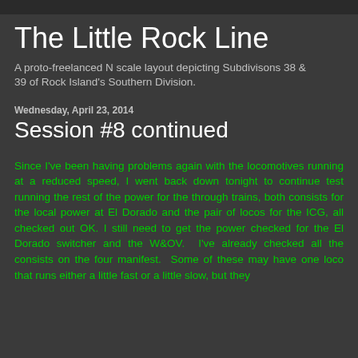The Little Rock Line
A proto-freelanced N scale layout depicting Subdivisons 38 & 39 of Rock Island's Southern Division.
Wednesday, April 23, 2014
Session #8 continued
Since I've been having problems again with the locomotives running at a reduced speed, I went back down tonight to continue test running the rest of the power for the through trains, both consists for the local power at El Dorado and the pair of locos for the ICG, all checked out OK. I still need to get the power checked for the El Dorado switcher and the W&OV. I've already checked all the consists on the four manifest. Some of these may have one loco that runs either a little fast or a little slow, but they